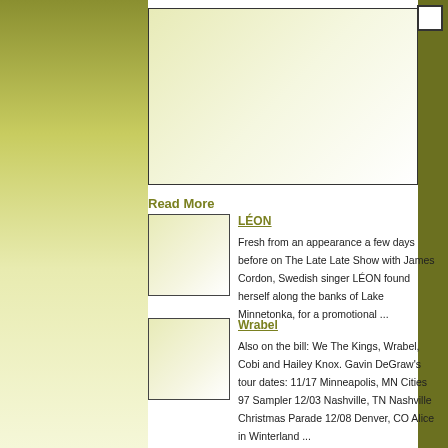[Figure (photo): Large main image placeholder with olive gradient background and black border]
Read More
[Figure (photo): Small thumbnail image placeholder for LÉON article]
LÉON
Fresh from an appearance a few days before on The Late Late Show with James Cordon, Swedish singer LÉON found herself along the banks of Lake Minnetonka, for a promotional ...
[Figure (photo): Small thumbnail image placeholder for Wrabel article]
Wrabel
Also on the bill: We The Kings, Wrabel, Cobi and Hailey Knox. Gavin DeGraw's tour dates: 11/17 Minneapolis, MN Cities 97 Sampler 12/03 Nashville, TN Nashville Christmas Parade 12/08 Denver, CO Alice in Winterland ...